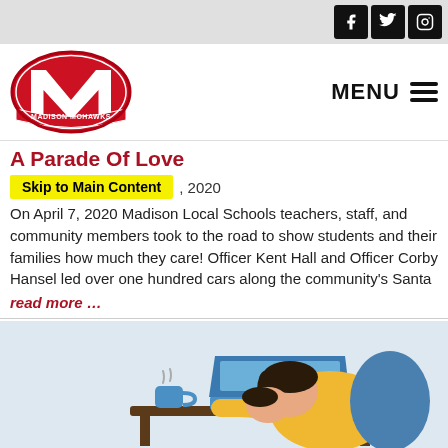Madison Mohawks - Social icons: Facebook, Twitter, Instagram
[Figure (logo): Madison Mohawks school logo - red M with banner reading MADISON MOHAWKS]
A Parade Of Love
Skip to Main Content
, 2020
On April 7, 2020 Madison Local Schools teachers, staff, and community members took to the road to show students and their families how much they care! Officer Kent Hall and Officer Corby Hansel led over one hundred cars along the community’s Santa
read more …
[Figure (illustration): Illustration of a person with dark hair wearing a yellow jacket slumped over a desk with a laptop and a mug, with a blue chair in the background, on a light blue background]